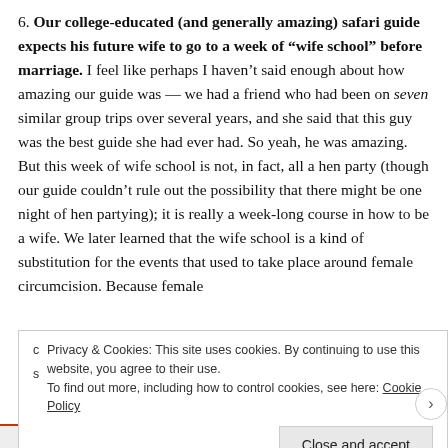6. Our college-educated (and generally amazing) safari guide expects his future wife to go to a week of “wife school” before marriage. I feel like perhaps I haven’t said enough about how amazing our guide was — we had a friend who had been on seven similar group trips over several years, and she said that this guy was the best guide she had ever had. So yeah, he was amazing. But this week of wife school is not, in fact, all a hen party (though our guide couldn’t rule out the possibility that there might be one night of hen partying); it is really a week-long course in how to be a wife. We later learned that the wife school is a kind of substitution for the events that used to take place around female circumcision. Because female
Privacy & Cookies: This site uses cookies. By continuing to use this website, you agree to their use.
To find out more, including how to control cookies, see here: Cookie Policy
Close and accept